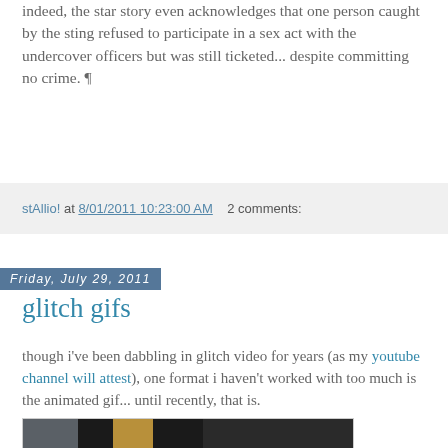as civil ordinance violation. indeed, the star story even acknowledges that one person caught by the sting refused to participate in a sex act with the undercover officers but was still ticketed... despite committing no crime. ¶
stAllio! at 8/01/2011 10:23:00 AM   2 comments:
Friday, July 29, 2011
glitch gifs
though i've been dabbling in glitch video for years (as my youtube channel will attest), one format i haven't worked with too much is the animated gif... until recently, that is.
[Figure (photo): A glitch art image showing distorted video frames with colorful pixel noise and corruption artifacts over a dark scene.]